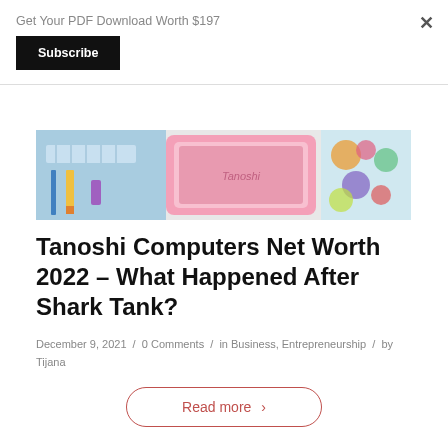Get Your PDF Download Worth $197
Subscribe
[Figure (photo): Top-down photo of school/office supplies including a pink tablet labeled Tanoshi, ruler, pencils, and colorful items on a white surface]
Tanoshi Computers Net Worth 2022 – What Happened After Shark Tank?
December 9, 2021 / 0 Comments / in Business, Entrepreneurship / by Tijana
Read more >